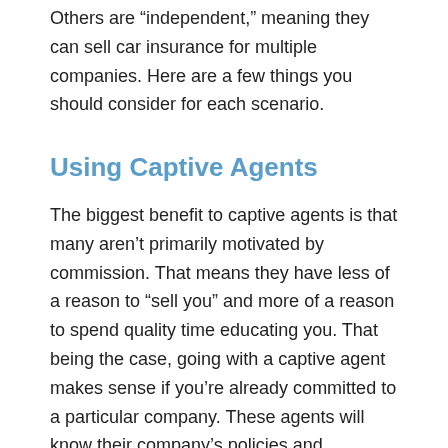Others are “independent,” meaning they can sell car insurance for multiple companies. Here are a few things you should consider for each scenario.
Using Captive Agents
The biggest benefit to captive agents is that many aren’t primarily motivated by commission. That means they have less of a reason to “sell you” and more of a reason to spend quality time educating you. That being the case, going with a captive agent makes sense if you’re already committed to a particular company. These agents will know their company’s policies and coverages from top to bottom.
Using Independent Agents
Independent agents have special access with several